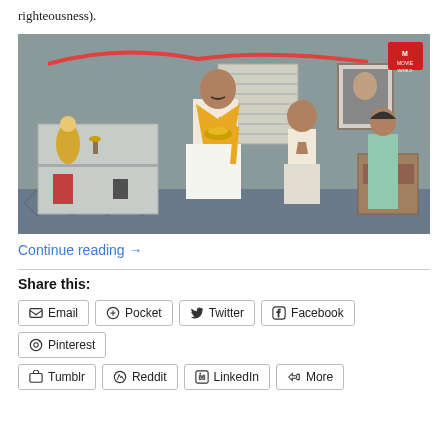righteousness).
[Figure (photo): A man wearing a yellow shawl and white dhoti holds a ritual lamp/plate, performing a puja ceremony. Two children stand nearby with hands folded in prayer. Hindu deity statues are visible on a shelf to the left. A framed portrait hangs on the wall. A movie channel watermark appears in the top right corner.]
Continue reading →
Share this:
Email
Pocket
Twitter
Facebook
Pinterest
Tumblr
Reddit
LinkedIn
More